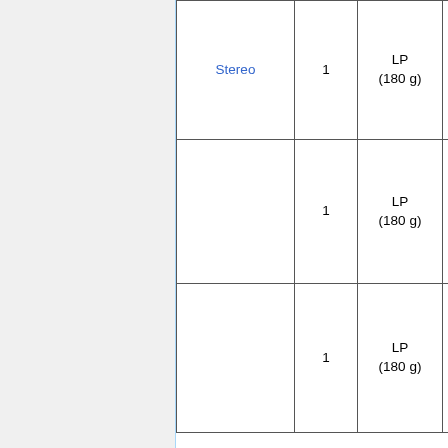| Stereo |  | LP (180 g) | Zap... |
| --- | --- | --- | --- |
| Stereo | 1 | LP (180 g) | Zap... ZR... |
|  | 1 | LP (180 g) | Zap... 082... |
|  | 1 | LP (180 g) | Zap... ZR... |
Notes
1. ↑ 1.0 1.1 Martin C. Strong, 2004, The Great Rock Discography, p...